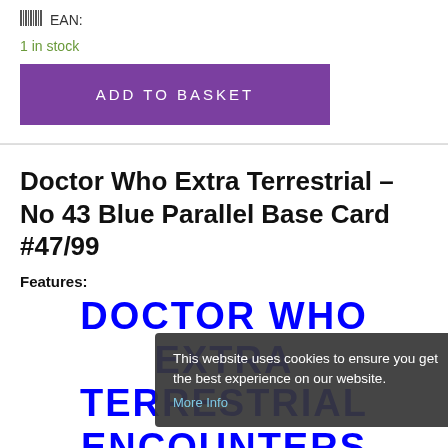EAN:
1 in stock
ADD TO BASKET
Doctor Who Extra Terrestrial – No 43 Blue Parallel Base Card #47/99
Features:
[Figure (other): Blue bold text watermark reading DOCTOR WHO EXTRA TERRESTRIAL ENCOUNTERS]
This website uses cookies to ensure you get the best experience on our website. More Info